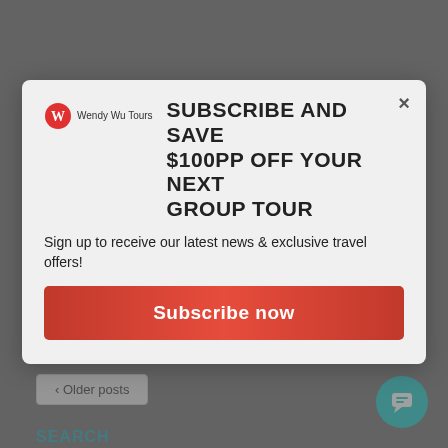The Naadan Festival is Mongolia's biggest celebration. Mongolia's population is sparsely distributed, but many activities are held here, but every province throughout the country also celebrates. For travellers to Mongolia, the weather is usually warm and celebrating! What... CONTINUE READING
[Figure (screenshot): Modal popup with Wendy Wu Tours logo, headline 'Subscribe and Save $100pp Off Your Next Group Tour', subscription invite text, and red Subscribe now button]
< Older posts
SEARCH